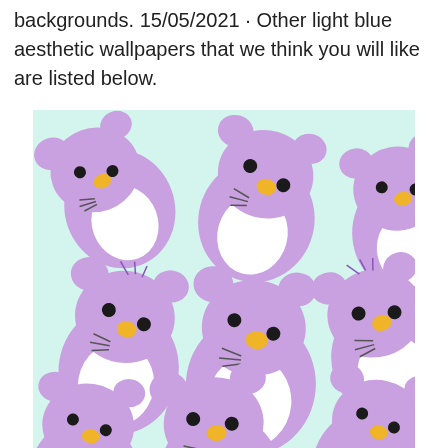backgrounds. 15/05/2021 · Other light blue aesthetic wallpapers that we think you will like are listed below.
[Figure (illustration): A repeating pattern of cute cartoon purple koala/bear characters on a light mint/teal background. The characters are lavender/purple colored with white round bellies, black dot eyes, yellow/gold noses, and small whisker lines. Multiple characters are shown in various orientations scattered across the image.]